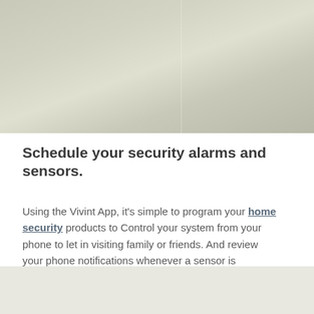[Figure (photo): A beige/grey interior wall corner with soft lighting, showing wall surfaces meeting at an angle.]
Schedule your security alarms and sensors.
Using the Vivint App, it's simple to program your home security products to Control your system from your phone to let in visiting family or friends. And review your phone notifications whenever a sensor is triggered.